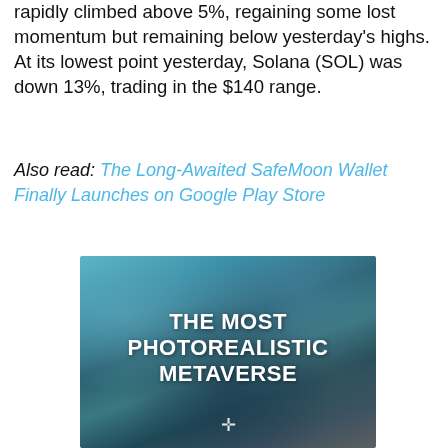rapidly climbed above 5%, regaining some lost momentum but remaining below yesterday's highs. At its lowest point yesterday, Solana (SOL) was down 13%, trading in the $140 range.
Also read: The Long-Awaited SafeMoon Wallet Finally Launches on Google Play Store
[Figure (illustration): Promotional image with teal/blue rocky texture background and white bold text reading 'THE MOST PHOTOREALISTIC METAVERSE' with a small compass/cross icon below]